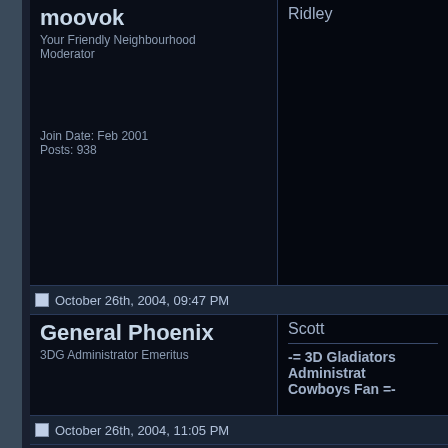moovok
Your Friendly Neighbourhood Moderator
Join Date: Feb 2001
Posts: 938
Ridley
October 26th, 2004, 09:47 PM
General Phoenix
3DG Administrator Emeritus
Join Date: Oct 1999
Location: Jackson, MS
Posts: 1,960
Scott
-= 3D Gladiators Administrator Cowboys Fan =-
October 26th, 2004, 11:05 PM